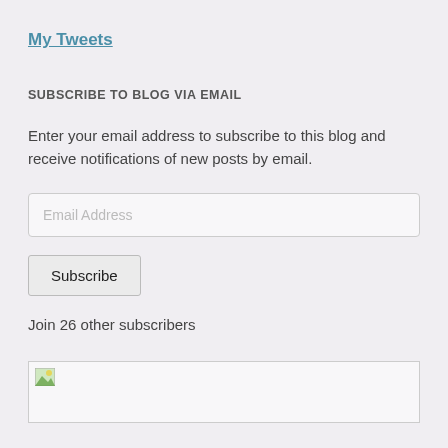My Tweets
SUBSCRIBE TO BLOG VIA EMAIL
Enter your email address to subscribe to this blog and receive notifications of new posts by email.
[Figure (screenshot): Email Address input field placeholder]
[Figure (screenshot): Subscribe button]
Join 26 other subscribers
[Figure (screenshot): Image box with broken image icon at top left]